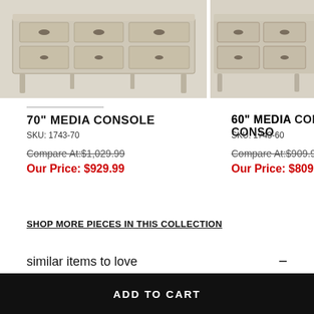[Figure (photo): Photo of a 70-inch whitewashed wood media console with drawers and cabinet doors, shown from front angle]
[Figure (photo): Partial photo of a 60-inch whitewashed wood media console, similar style, cropped on right edge]
70" MEDIA CONSOLE
SKU: 1743-70
Compare At:$1,029.99
Our Price: $929.99
60" MEDIA CONSOLE
SKU: 1743-60
Compare At:$909.99
Our Price: $809.99
SHOP MORE PIECES IN THIS COLLECTION
similar items to love
ADD TO CART